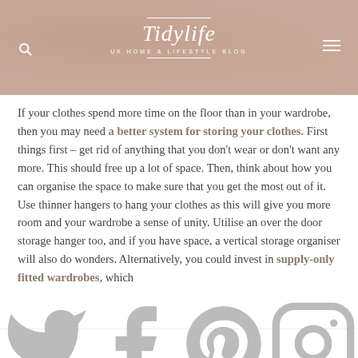Tidylife — UK HOME & LIFESTYLE BLOG
If your clothes spend more time on the floor than in your wardrobe, then you may need a better system for storing your clothes. First things first – get rid of anything that you don't wear or don't want any more. This should free up a lot of space. Then, think about how you can organise the space to make sure that you get the most out of it. Use thinner hangers to hang your clothes as this will give you more room and your wardrobe a sense of unity. Utilise an over the door storage hanger too, and if you have space, a vertical storage organiser will also do wonders. Alternatively, you could invest in supply-only fitted wardrobes, which
Social media icons